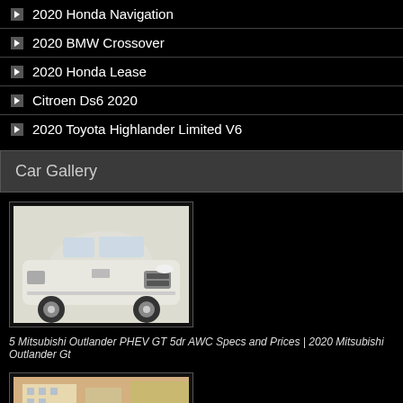2020 Honda Navigation
2020 BMW Crossover
2020 Honda Lease
Citroen Ds6 2020
2020 Toyota Highlander Limited V6
Car Gallery
[Figure (photo): White Mitsubishi Outlander PHEV GT SUV on white background]
5 Mitsubishi Outlander PHEV GT 5dr AWC Specs and Prices | 2020 Mitsubishi Outlander Gt
[Figure (photo): Dark green sports car parked in front of a building]